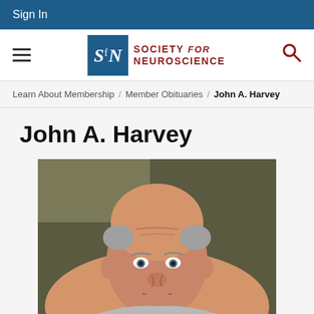Sign In
[Figure (logo): Society for Neuroscience logo with SfN monogram in blue box and red text]
Learn About Membership / Member Obituaries / John A. Harvey
John A. Harvey
[Figure (photo): Portrait photograph of John A. Harvey, an older man with gray hair, looking at the camera]